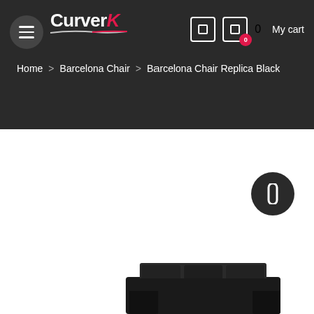CurverK — My cart
Home > Barcelona Chair > Barcelona Chair Replica Black
[Figure (screenshot): Bottom portion of e-commerce product page showing a dark Barcelona chair replica image partially visible at the bottom, with a circular dark navigation button on the right side]